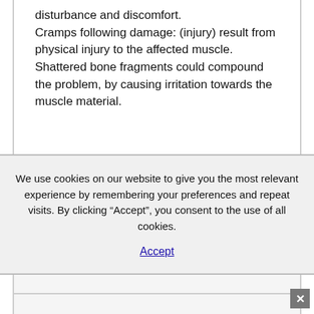disturbance and discomfort. Cramps following damage: (injury) result from physical injury to the affected muscle. Shattered bone fragments could compound the problem, by causing irritation towards the muscle material.
We use cookies on our website to give you the most relevant experience by remembering your preferences and repeat visits. By clicking “Accept”, you consent to the use of all cookies.
Accept